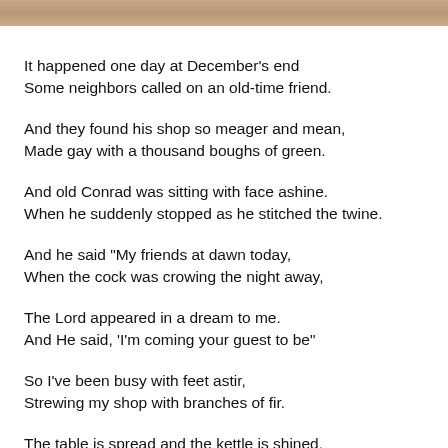[Figure (photo): Partial photograph at top of page, cropped, showing warm brown tones, possibly an animal or person.]
It happened one day at December's end
Some neighbors called on an old-time friend.
And they found his shop so meager and mean,
Made gay with a thousand boughs of green.
And old Conrad was sitting with face ashine.
When he suddenly stopped as he stitched the twine.
And he said "My friends at dawn today,
When the cock was crowing the night away,
The Lord appeared in a dream to me.
And He said, 'I'm coming your guest to be"
So I've been busy with feet astir,
Strewing my shop with branches of fir.
The table is spread and the kettle is shined,